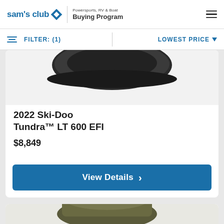[Figure (logo): Sam's Club logo with diamond icon and 'Powersports, RV & Boat Buying Program' text]
FILTER: (1)
LOWEST PRICE
[Figure (photo): Partial view of a Ski-Doo snowmobile, dark colored, top portion visible]
2022 Ski-Doo Tundra™ LT 600 EFI
$8,849
View Details >
[Figure (photo): Partial view of another snowmobile, yellow/olive colored, bottom of page]